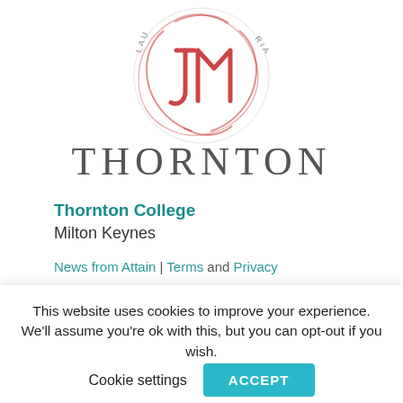[Figure (logo): Thornton College circular crest with decorative 'JM' monogram in red/coral, with text 'LAUDIS MARIAE' around the border]
THORNTON
Thornton College
Milton Keynes
News from Attain | Terms and Privacy
[Figure (other): Teal rounded button (partially visible)]
This website uses cookies to improve your experience. We'll assume you're ok with this, but you can opt-out if you wish.
Cookie settings   ACCEPT